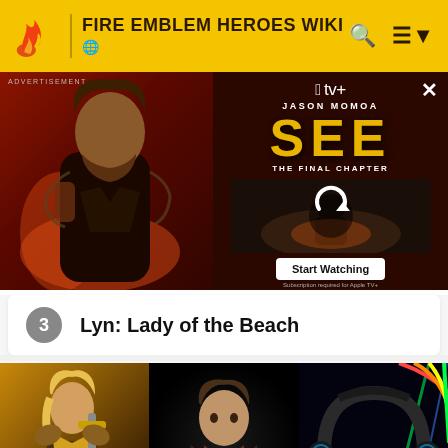FIRE EMBLEM HEROES WIKI
[Figure (screenshot): Apple TV+ advertisement for 'SEE: The Final Chapter' featuring Jason Momoa. Left side shows Jason Momoa in warrior makeup. Right side shows Apple TV+ logo, 'JASON MOMOA', large 'SEE' text in yellow, 'THE FINAL CHAPTER' subtitle, a 'Start Watching' button, and a dark scene thumbnail with a refresh icon.]
3   Lyn: Lady of the Beach
[Figure (screenshot): Three images side by side at bottom: left shows an illustrated armored female character (game art), center shows a young man in a dark scene, right shows gaming headphones with RGB lighting on dark background.]